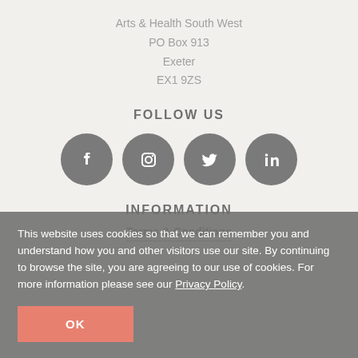Arts & Health South West
PO Box 913
Exeter
EX1 9ZS
FOLLOW US
[Figure (infographic): Four circular social media icons (Facebook, Instagram, Twitter, LinkedIn) in dark grey]
INFORMATION
Terms & Conditions
This website uses cookies so that we can remember you and understand how you and other visitors use our site. By continuing to browse the site, you are agreeing to our use of cookies. For more information please see our Privacy Policy.
OK